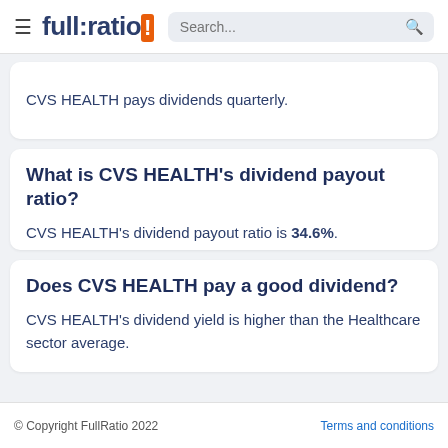full:ratio | Search...
CVS HEALTH pays dividends quarterly.
What is CVS HEALTH's dividend payout ratio?
CVS HEALTH's dividend payout ratio is 34.6%.
Does CVS HEALTH pay a good dividend?
CVS HEALTH's dividend yield is higher than the Healthcare sector average.
© Copyright FullRatio 2022    Terms and conditions